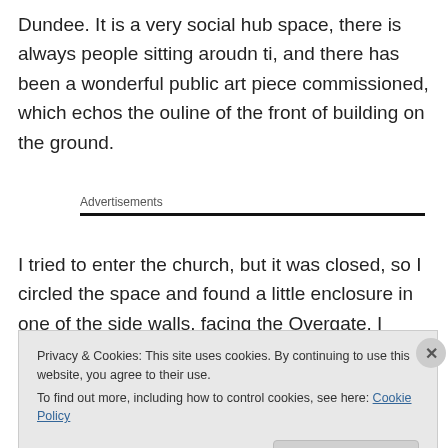Dundee. It is a very social hub space, there is always people sitting aroudn ti, and there has been a wonderful public art piece commissioned, which echos the ouline of the front of building on the ground.
Advertisements
I tried to enter the church, but it was closed, so I circled the space and found a little enclosure in one of the side walls, facing the Overgate. I stood there, taking in my
Privacy & Cookies: This site uses cookies. By continuing to use this website, you agree to their use.
To find out more, including how to control cookies, see here: Cookie Policy
Close and accept